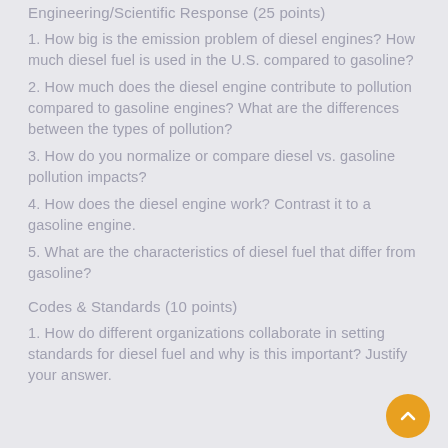Engineering/Scientific Response (25 points)
1. How big is the emission problem of diesel engines? How much diesel fuel is used in the U.S. compared to gasoline?
2. How much does the diesel engine contribute to pollution compared to gasoline engines? What are the differences between the types of pollution?
3. How do you normalize or compare diesel vs. gasoline pollution impacts?
4. How does the diesel engine work? Contrast it to a gasoline engine.
5. What are the characteristics of diesel fuel that differ from gasoline?
Codes & Standards (10 points)
1. How do different organizations collaborate in setting standards for diesel fuel and why is this important? Justify your answer.